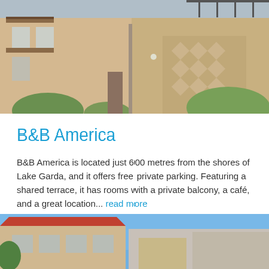[Figure (photo): Exterior photo of B&B America building showing balconies, facade with diamond pattern decor, and surrounding greenery]
B&B America
B&B America is located just 600 metres from the shores of Lake Garda, and it offers free private parking. Featuring a shared terrace, it has rooms with a private balcony, a café, and a great location... read more
Rating 8.5   Prices from $45
Read more   Available rooms
[Figure (photo): Exterior photo of another accommodation showing building facade against blue sky]